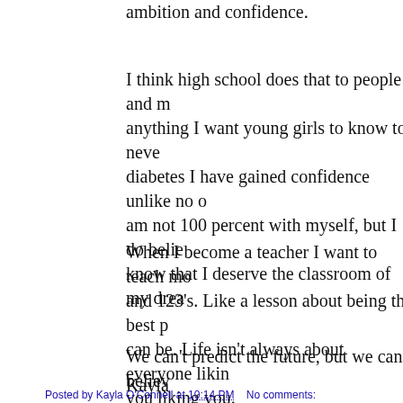Unfortunately through my time in high school I lost my ambition and confidence.
I think high school does that to people and more than anything I want young girls to know to never lose that. Since diabetes I have gained confidence unlike no other. I am not 100 percent with myself, but I do believe and know that I deserve the classroom of my dreams.
When I become a teacher I want to teach more than ABC's and 123's. Like a lesson about being the best person you can be. Life isn't always about everyone liking you, it's about you liking you.
We can't predict the future, but we can believe.
Kayla
Posted by Kayla O'Connell at 10:14 PM    No comments: